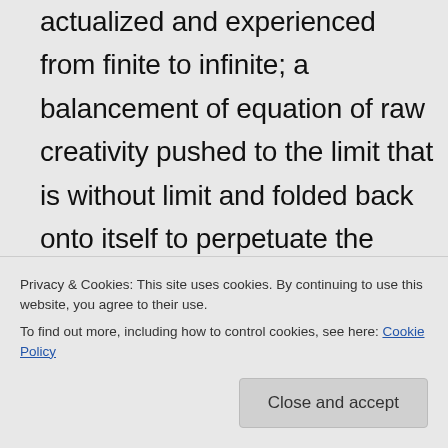actualized and experienced from finite to infinite; a balancement of equation of raw creativity pushed to the limit that is without limit and folded back onto itself to perpetuate the perfection of LOVE, personified and untainted. And like cells within the beautifully expressed macrocosm of the Divine, we serve to illuminate the expression of this grand design. We are the letters within a word, sentences within a story, actualizing the Word. We are the
Privacy & Cookies: This site uses cookies. By continuing to use this website, you agree to their use. To find out more, including how to control cookies, see here: Cookie Policy
experience!